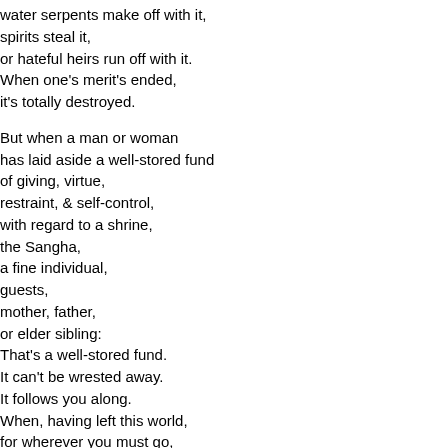water serpents make off with it,
spirits steal it,
or hateful heirs run off with it.
When one's merit's ended,
it's totally destroyed.

But when a man or woman
has laid aside a well-stored fund
of giving, virtue,
restraint, & self-control,
    with regard to a shrine,
    the Sangha,
    a fine individual,
    guests,
    mother, father,
    or elder sibling:
That's a well-stored fund.
    It can't be wrested away.
    It follows you along.
When, having left this world,
    for wherever you must go,
    you take it with you.
This fund is not held in common with others,
& cannot be stolen by thieves.